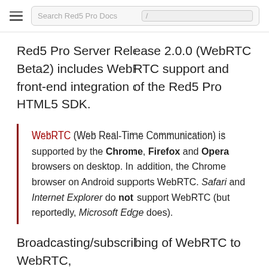Search Red5 Pro Docs
Red5 Pro Server Release 2.0.0 (WebRTC Beta2) includes WebRTC support and front-end integration of the Red5 Pro HTML5 SDK.
WebRTC (Web Real-Time Communication) is supported by the Chrome, Firefox and Opera browsers on desktop. In addition, the Chrome browser on Android supports WebRTC. Safari and Internet Explorer do not support WebRTC (but reportedly, Microsoft Edge does).
Broadcasting/subscribing of WebRTC to WebRTC,